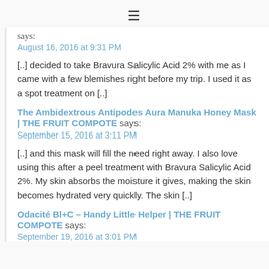≡
says:
August 16, 2016 at 9:31 PM
[..] decided to take Bravura Salicylic Acid 2% with me as I came with a few blemishes right before my trip. I used it as a spot treatment on [..]
The Ambidextrous Antipodes Aura Manuka Honey Mask | THE FRUIT COMPOTE says:
September 15, 2016 at 3:11 PM
[..] and this mask will fill the need right away. I also love using this after a peel treatment with Bravura Salicylic Acid 2%. My skin absorbs the moisture it gives, making the skin becomes hydrated very quickly. The skin [..]
Odacité Bl+C – Handy Little Helper | THE FRUIT COMPOTE says:
September 19, 2016 at 3:01 PM